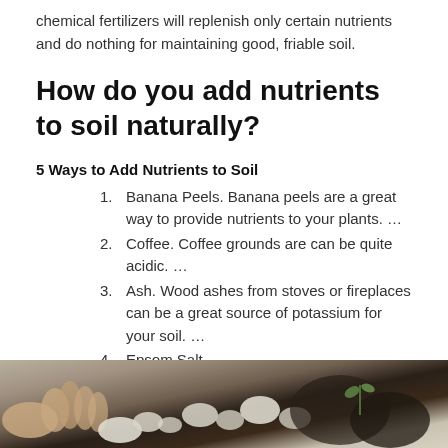chemical fertilizers will replenish only certain nutrients and do nothing for maintaining good, friable soil.
How do you add nutrients to soil naturally?
5 Ways to Add Nutrients to Soil
1. Banana Peels. Banana peels are a great way to provide nutrients to your plants. …
2. Coffee. Coffee grounds are can be quite acidic. …
3. Ash. Wood ashes from stoves or fireplaces can be a great source of potassium for your soil. …
4. Epsom Salt. …
5. Eggshells.
[Figure (photo): Close-up photo of hands touching soil, rocks, and plant matter on the ground]